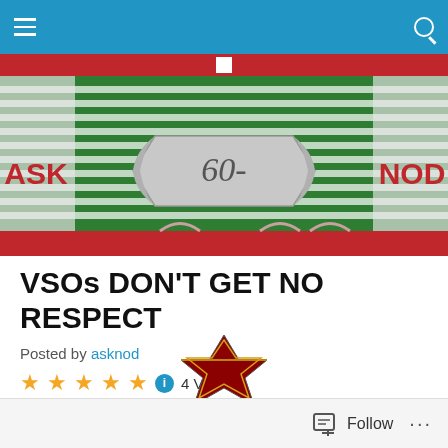Navigation bar with hamburger menu and search icon
[Figure (illustration): Website header banner showing a military ribbon/medal decoration with green and white stripes, red borders, text 'ASK' on left and 'NOD' on right in red, and a silver banner reading '60-' in the center]
VSOs DON'T GET NO RESPECT
Posted by asknod
4 Votes
[Figure (illustration): Partial view of a military medal with red and gold star/wreath design]
Follow  ...